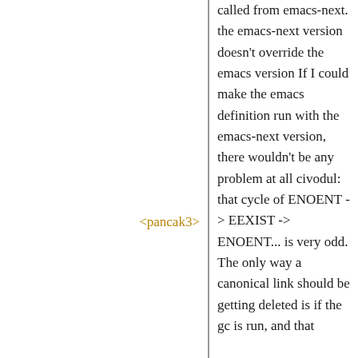<pancak3>
<reepca>
called from emacs-next. the emacs-next version doesn't override the emacs version If I could make the emacs definition run with the emacs-next version, there wouldn't be any problem at all civodul: that cycle of ENOENT -> EEXIST -> ENOENT... is very odd. The only way a canonical link should be getting deleted is if the gc is run, and that